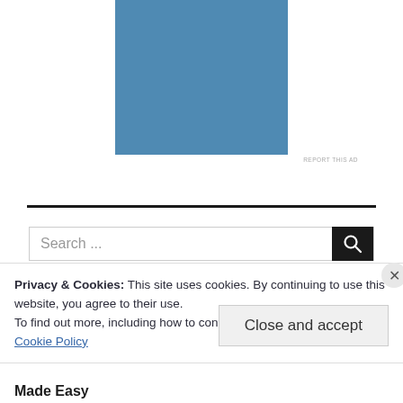[Figure (other): Blue advertisement block placeholder]
REPORT THIS AD
Search ...
Privacy & Cookies: This site uses cookies. By continuing to use this website, you agree to their use.
To find out more, including how to control cookies, see here:
Cookie Policy
Close and accept
Made Easy